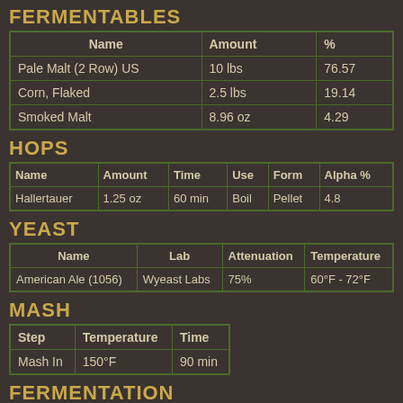FERMENTABLES
| Name | Amount | % |
| --- | --- | --- |
| Pale Malt (2 Row) US | 10 lbs | 76.57 |
| Corn, Flaked | 2.5 lbs | 19.14 |
| Smoked Malt | 8.96 oz | 4.29 |
HOPS
| Name | Amount | Time | Use | Form | Alpha % |
| --- | --- | --- | --- | --- | --- |
| Hallertauer | 1.25 oz | 60 min | Boil | Pellet | 4.8 |
YEAST
| Name | Lab | Attenuation | Temperature |
| --- | --- | --- | --- |
| American Ale (1056) | Wyeast Labs | 75% | 60°F - 72°F |
MASH
| Step | Temperature | Time |
| --- | --- | --- |
| Mash In | 150°F | 90 min |
FERMENTATION
| Step | Time | Temperature |
| --- | --- | --- |